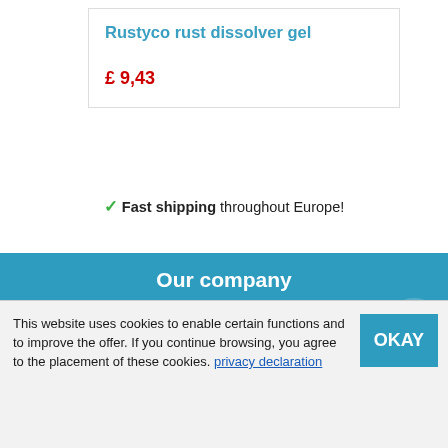Rustyco rust dissolver gel
£ 9,43
✓ Fast shipping throughout Europe!
Our company
Deliver VAT free
Terms and Conditions
This website uses cookies to enable certain functions and to improve the offer. If you continue browsing, you agree to the placement of these cookies. privacy declaration